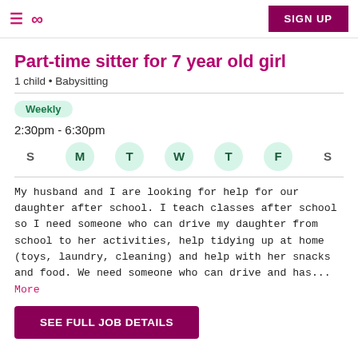≡ ∞  SIGN UP
Part-time sitter for 7 year old girl
1 child • Babysitting
Weekly
2:30pm - 6:30pm
S M T W T F S
My husband and I are looking for help for our daughter after school. I teach classes after school so I need someone who can drive my daughter from school to her activities, help tidying up at home (toys, laundry, cleaning) and help with her snacks and food. We need someone who can drive and has... More
SEE FULL JOB DETAILS